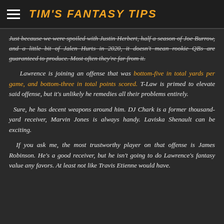TIM'S FANTASY TIPS
Just because we were spoiled with Justin Herbert, half a season of Joe Burrow, and a little bit of Jalen Hurts in 2020, it doesn't mean rookie QBs are guaranteed to produce. Most often they're far from it.
Lawrence is joining an offense that was bottom-five in total yards per game, and bottom-three in total points scored. T-Law is primed to elevate said offense, but it's unlikely he remedies all their problems entirely.
Sure, he has decent weapons around him. DJ Chark is a former thousand-yard receiver, Marvin Jones is always handy. Laviska Shenault can be exciting.
If you ask me, the most trustworthy player on that offense is James Robinson. He's a good receiver, but he isn't going to do Lawrence's fantasy value any favors. At least not like Travis Etienne would have.